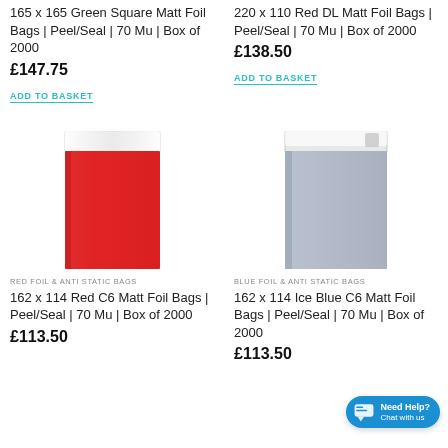165 x 165 Green Square Matt Foil Bags | Peel/Seal | 70 Mu | Box of 2000
£147.75
ADD TO BASKET
220 x 110 Red DL Matt Foil Bags | Peel/Seal | 70 Mu | Box of 2000
£138.50
ADD TO BASKET
[Figure (photo): Red foil peel/seal bag, C6 size, with white peel strip at top]
[Figure (photo): Ice blue/grey foil peel/seal bag, C6 size, with white peel strip at top]
RED FOIL & ANTI STATIC BAGS
162 x 114 Red C6 Matt Foil Bags | Peel/Seal | 70 Mu | Box of 2000
£113.50
BLUE FOIL & ANTI STATIC BAGS
162 x 114 Ice Blue C6 Matt Foil Bags | Peel/Seal | 70 Mu | Box of 2000
£113.50